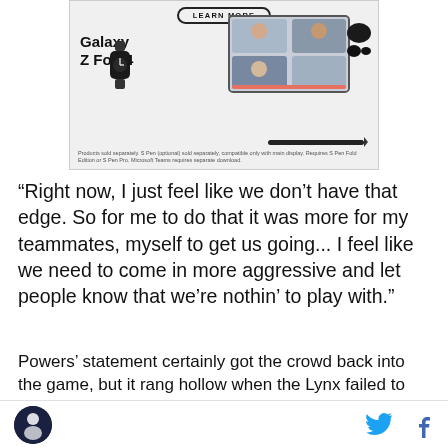[Figure (illustration): Samsung Galaxy Z Fold4 advertisement showing a 'LEARN MORE' button, the product name 'Galaxy Z Fold4', a foldable tablet/phone with a video call on screen, a smartwatch, earbuds, and a stylus pen. Footer text: 'Products sold separately. S Pen (optional) sold separately, compatible only with main display. Requires S Pen Fold Edition or S Pen Pro. Microsoft Teams requires separate download.']
“Right now, I just feel like we don’t have that edge. So for me to do that it was more for my teammates, myself to get us going... I feel like we need to come in more aggressive and let people know that we’re nothin’ to play with.”
Powers’ statement certainly got the crowd back into the game, but it rang hollow when the Lynx failed to score over the final 1:47 after re-taking the lead with a pair of